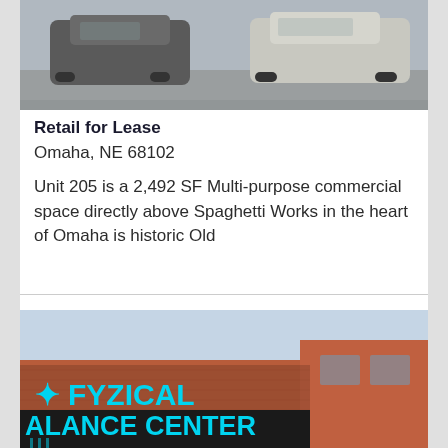[Figure (photo): Photo of parked cars in a parking lot, partial view from above]
Retail for Lease
Omaha, NE 68102
Unit 205 is a 2,492 SF Multi-purpose commercial space directly above Spaghetti Works in the heart of Omaha is historic Old
[Figure (photo): Photo of a building storefront with FYZICAL BALANCE CENTER signage in cyan letters on brick building]